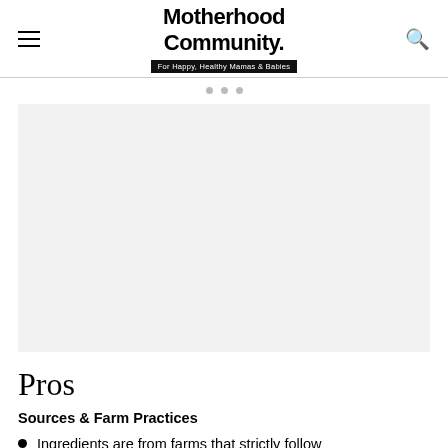Motherhood Community. For Happy, Healthy Mamas & Babies
[Figure (other): Carousel image placeholder area with three navigation dots above a large light gray image area]
Pros
Sources & Farm Practices
Ingredients are from farms that strictly follow